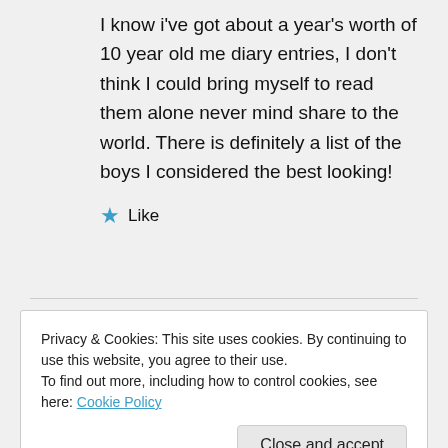I know i've got about a year's worth of 10 year old me diary entries, I don't think I could bring myself to read them alone never mind share to the world. There is definitely a list of the boys I considered the best looking!
Like
Privacy & Cookies: This site uses cookies. By continuing to use this website, you agree to their use.
To find out more, including how to control cookies, see here: Cookie Policy
Close and accept